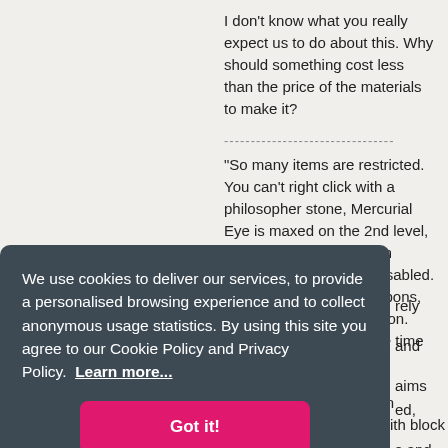I don't know what you really expect us to do about this. Why should something cost less than the price of the materials to make it?
--------------------------------
"So many items are restricted. You can't right click with a philosopher stone, Mercurial Eye is maxed on the 2nd level, don't bother making Gem armor, the powers are disabled. Can't use AOE with weapons, and the list goes on and on. The owner won't take the time to list all of
[partial text visible: ...rely ...and ...aims ...ed, ...s and, ...ar to ...Mercurial Eye is limited in size because of issues with block logging past]
We use cookies to deliver our services, to provide a personalised browsing experience and to collect anonymous usage statistics. By using this site you agree to our Cookie Policy and Privacy Policy.  Learn more...
Got it!